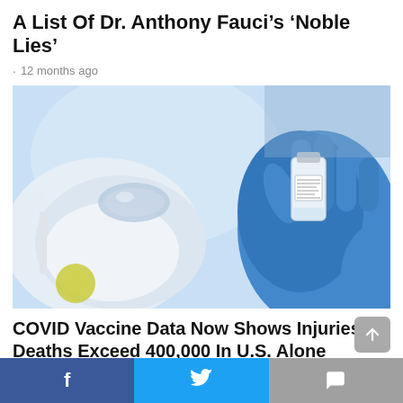A List Of Dr. Anthony Fauci's 'Noble Lies'
· 12 months ago
[Figure (photo): Healthcare worker in mask, goggles and blue gloves holding a small vaccine vial]
COVID Vaccine Data Now Shows Injuries, Deaths Exceed 400,000 In U.S. Alone